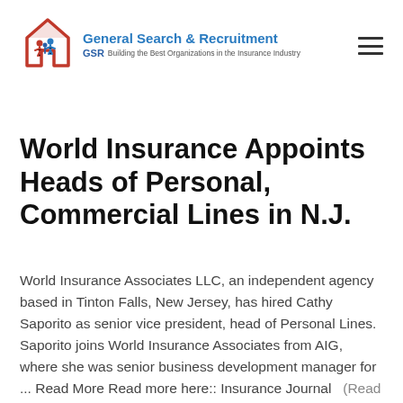[Figure (logo): General Search & Recruitment (GSR) logo with house/people icon in red and blue, company name in blue, tagline 'Building the Best Organizations in the Insurance Industry']
World Insurance Appoints Heads of Personal, Commercial Lines in N.J.
World Insurance Associates LLC, an independent agency based in Tinton Falls, New Jersey, has hired Cathy Saporito as senior vice president, head of Personal Lines. Saporito joins World Insurance Associates from AIG, where she was senior business development manager for ... Read More Read more here:: Insurance Journal   &nbsp... (Read More)